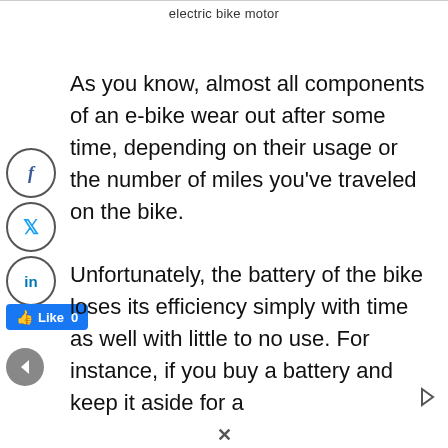electric bike motor
As you know, almost all components of an e-bike wear out after some time, depending on their usage or the number of miles you've traveled on the bike.
Unfortunately, the battery of the bike loses its efficiency simply with time as well with little to no use. For instance, if you buy a battery and keep it aside for a